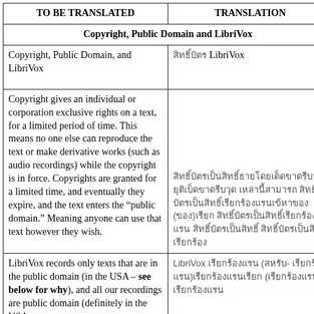| TO BE TRANSLATED | TRANSLATION |
| --- | --- |
| Copyright, Public Domain and LibriVox |  |
| Copyright, Public Domain, and LibriVox | [Thai] LibriVox |
| Copyright gives an individual or corporation exclusive rights on a text, for a limited period of time. This means no one else can reproduce the text or make derivative works (such as audio recordings) while the copyright is in force. Copyrights are granted for a limited time, and eventually they expire, and the text enters the “public domain.” Meaning anyone can use that text however they wish. | [Thai translation paragraph] |
| LibriVox records only texts that are in the public domain (in the USA – see below for why), and all our recordings are public domain (definitely in the USA, | LibriVox [Thai] ([Thai]- [Thai])[Thai] ([Thai] |